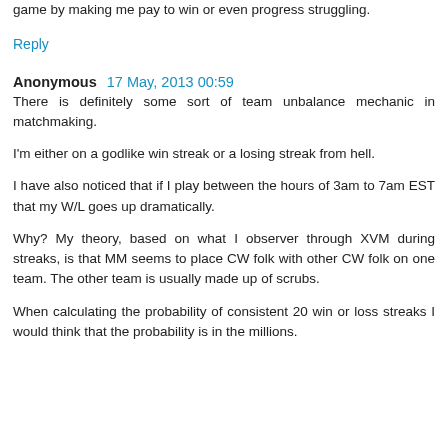game by making me pay to win or even progress struggling.
Reply
Anonymous  17 May, 2013 00:59
There is definitely some sort of team unbalance mechanic in matchmaking.
I'm either on a godlike win streak or a losing streak from hell.
I have also noticed that if I play between the hours of 3am to 7am EST that my W/L goes up dramatically.
Why? My theory, based on what I observer through XVM during streaks, is that MM seems to place CW folk with other CW folk on one team. The other team is usually made up of scrubs.
When calculating the probability of consistent 20 win or loss streaks I would think that the probability is in the millions.